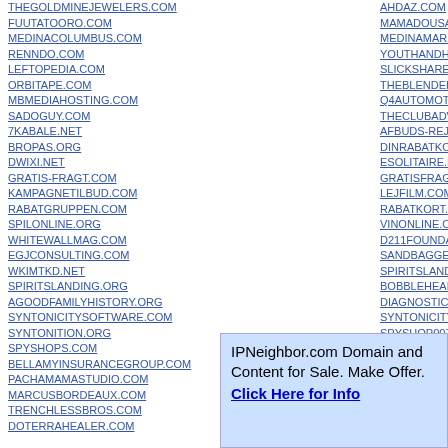THEGOLDMINEJEWELERS.COM
FUUTATOORO.COM
MEDINACOLUMBUS.COM
RENNDO.COM
LEFTOPEDIA.COM
ORBITAPE.COM
MBMEDIAHOSTING.COM
SADOGUY.COM
7KABALE.NET
BROPAS.ORG
DWIXI.NET
GRATIS-FRAGT.COM
KAMPAGNETILBUD.COM
RABATGRUPPEN.COM
SPILONLINE.ORG
WHITEWALLMAG.COM
EGJCONSULTING.COM
WKIMTKD.NET
SPIRITSLANDING.ORG
AGOODFAMILYHISTORY.ORG
SYNTONICITYSOFTWARE.COM
SYNTONITION.ORG
SPYSHOPS.COM
BELLAMYINSURANCEGROUP.COM
PACHAMAMASTUDIO.COM
MARCUSBORDEAUX.COM
TRENCHLESSBROS.COM
DOTERRAHEALER.COM
AHDAZ.COM
MAMADOUSAMBA...
MEDINAMARKETA...
YOUTHANDHOPE....
SLICKSHARE.COM
THEBLENDERCRIT...
Q4AUTOMOTIVE.C...
THECLUBADVENT...
AFBUDS-REJSE.CO...
DINRABATKODE.CO...
ESOLITAIRE.NET
GRATISFRAGT.CO...
LEJFILM.COM
RABATKORT.NET
VINONLINE.ORG
D211FOUNDATION...
SANDBAGGER.NE...
SPIRITSLANDING....
BOBBLEHEADCUS...
DIAGNOSTICCRIT...
SYNTONICITYSOF...
SPYSHOP007.COM...
DUCKLINGPOND.C...
FSRMOTORSPORT...
IPNeighbor.com Domain and Content for Sale. Make Offer. Click Here for Info